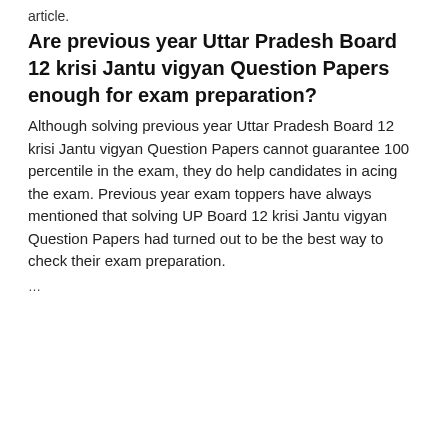article.
Are previous year Uttar Pradesh Board 12 krisi Jantu vigyan Question Papers enough for exam preparation?
Although solving previous year Uttar Pradesh Board 12 krisi Jantu vigyan Question Papers cannot guarantee 100 percentile in the exam, they do help candidates in acing the exam. Previous year exam toppers have always mentioned that solving UP Board 12 krisi Jantu vigyan Question Papers had turned out to be the best way to check their exam preparation.
…